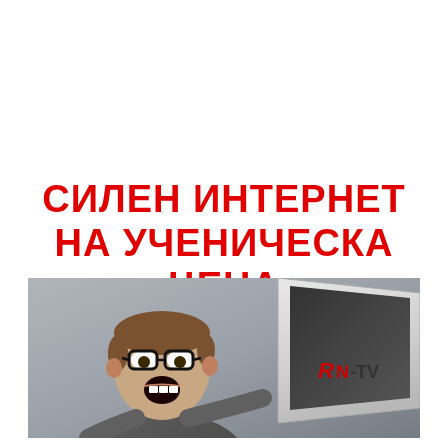СИЛЕН ИНТЕРНЕТ НА УЧЕНИЧЕСКА ЦЕНА
[Figure (photo): A young boy with glasses sitting at a laptop, mouth wide open in excitement/surprise. The laptop screen shows the RN-TV logo (large red R, followed by N-TV in red and black text).]